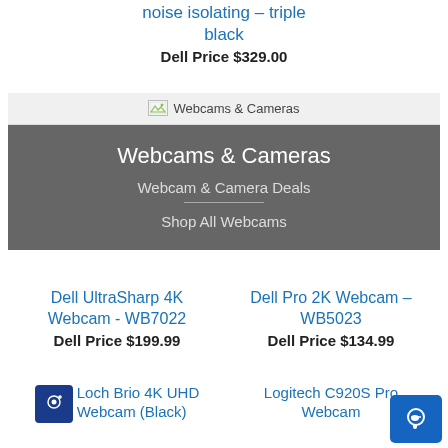noise isolating – triple black
Dell Price $329.00
[Figure (screenshot): Webcams & Cameras banner with broken image icon and dark grey background showing navigation links]
Dell UltraSharp 4K Webcam - WB7022
Dell Price $199.99
Dell Pro 2K Webcam – WB5023
Dell Price $134.99
Logitech Brio 4K UHD Webcam (Black)
Logitech C920S Pro Webcam